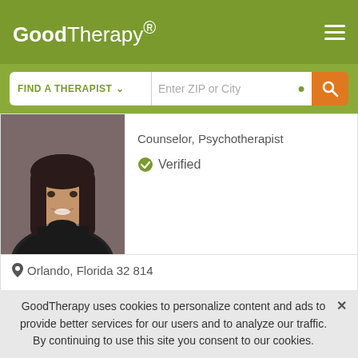GoodTherapy®
FIND A THERAPIST ∨   Enter ZIP or City
Counselor, Psychotherapist
✔ Verified
Orlando, Florida 32814
Are you feeling overwhelmed by life? Struggling to find the joy? Wondering what it all means? I am dedicated to providing a safe and loving space for you to discuss your deepest concerns without fear of
Email Me
813-437-9397
GoodTherapy uses cookies to personalize content and ads to provide better services for our users and to analyze our traffic. By continuing to use this site you consent to our cookies.